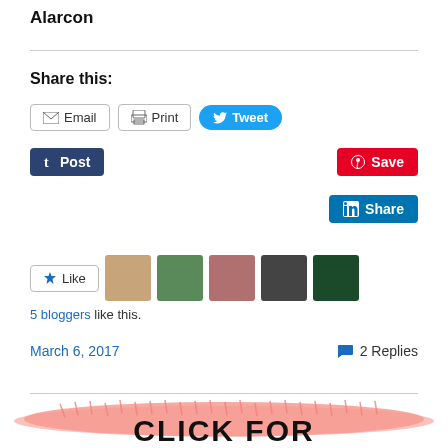Alarcon
Share this:
[Figure (screenshot): Social sharing buttons: Email, Print, Tweet, Post (Tumblr), Save (Pinterest), Share (LinkedIn)]
[Figure (screenshot): Like button with 5 blogger avatar thumbnails]
5 bloggers like this.
March 6, 2017   2 Replies
[Figure (illustration): Pink brush stroke background with large bold text reading CLICK FOR]